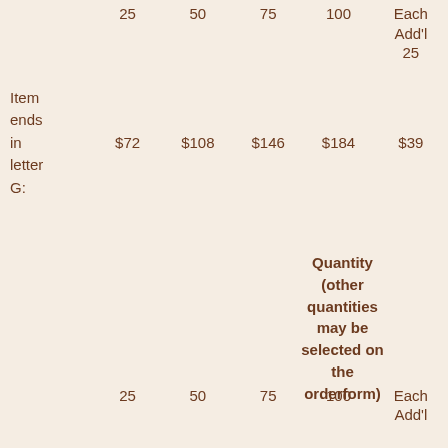|  | 25 | 50 | 75 | 100 | Each Add'l 25 |
| --- | --- | --- | --- | --- | --- |
| Item ends in letter G: | $72 | $108 | $146 | $184 | $39 |
Quantity (other quantities may be selected on the orderform)
|  | 25 | 50 | 75 | 100 | Each Add'l 25 |
| --- | --- | --- | --- | --- | --- |